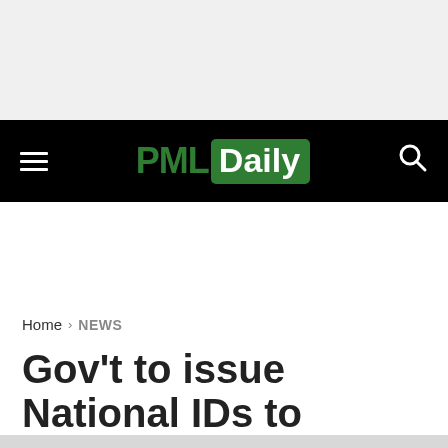PML Daily
Home › NEWS
Gov't to issue National IDs to